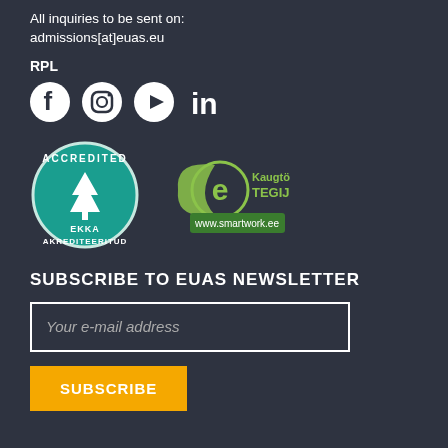All inquiries to be sent on:
admissions[at]euas.eu
RPL
[Figure (logo): Social media icons: Facebook, Instagram, YouTube, LinkedIn]
[Figure (logo): EKKA Accredited / Akrediteeritud circular badge and Kaugtöö TEGIJA e-smartwork logo with www.smartwork.ee]
SUBSCRIBE TO EUAS NEWSLETTER
Your e-mail address
SUBSCRIBE